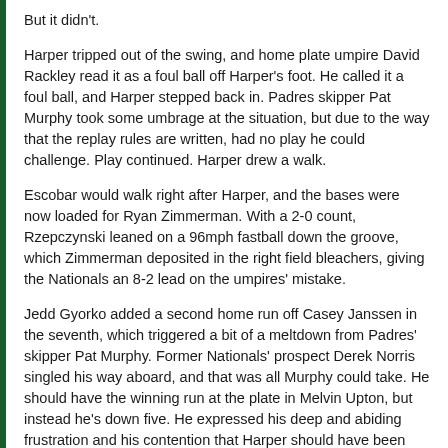But it didn't.
Harper tripped out of the swing, and home plate umpire David Rackley read it as a foul ball off Harper's foot. He called it a foul ball, and Harper stepped back in. Padres skipper Pat Murphy took some umbrage at the situation, but due to the way that the replay rules are written, had no play he could challenge. Play continued. Harper drew a walk.
Escobar would walk right after Harper, and the bases were now loaded for Ryan Zimmerman. With a 2-0 count, Rzepczynski leaned on a 96mph fastball down the groove, which Zimmerman deposited in the right field bleachers, giving the Nationals an 8-2 lead on the umpires' mistake.
Jedd Gyorko added a second home run off Casey Janssen in the seventh, which triggered a bit of a meltdown from Padres' skipper Pat Murphy. Former Nationals' prospect Derek Norris singled his way aboard, and that was all Murphy could take. He should have the winning run at the plate in Melvin Upton, but instead he's down five. He expressed his deep and abiding frustration and his contention that Harper should have been out.
But he expressed that in a way that managers are not suffered to do so